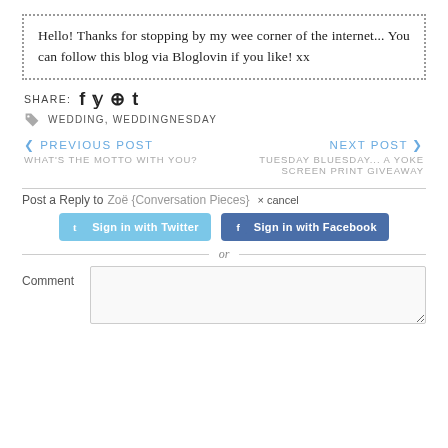Hello! Thanks for stopping by my wee corner of the internet... You can follow this blog via Bloglovin if you like! xx
SHARE:
WEDDING, WEDDINGNESDAY
< PREVIOUS POST
WHAT'S THE MOTTO WITH YOU?
NEXT POST >
TUESDAY BLUESDAY... A YOKE SCREEN PRINT GIVEAWAY
Post a Reply to Zoë {Conversation Pieces} × cancel
Sign in with Twitter
Sign in with Facebook
or
Comment